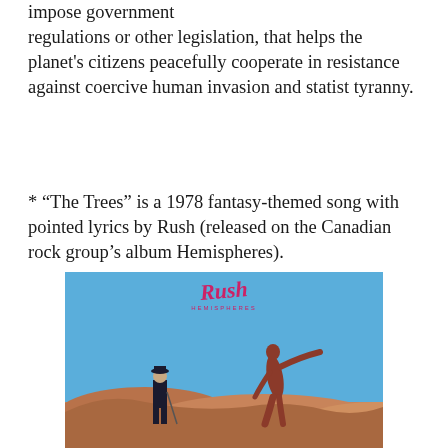impose government regulations or other legislation, that helps the planet's citizens peacefully cooperate in resistance against coercive human invasion and statist tyranny.
* “The Trees” is a 1978 fantasy-themed song with pointed lyrics by Rush (released on the Canadian rock group’s album Hemispheres).
[Figure (photo): Rush Hemispheres album cover showing a dark-suited man with bowler hat and cane standing on rocky terrain, with a red nude figure gesturing outward against a blue sky, with Rush Hemispheres logo at top]